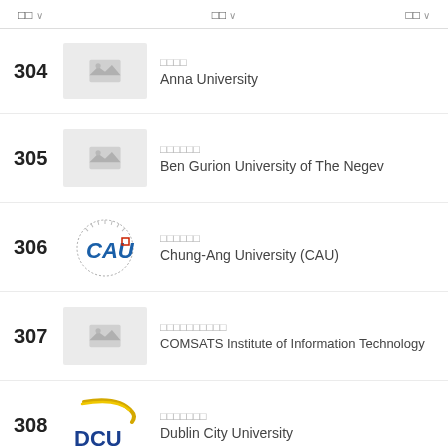☐☐ ∨   ☐☐ ∨   ☐☐ ∨
304 – Anna University
305 – Ben Gurion University of The Negev
306 – Chung-Ang University (CAU)
307 – COMSATS Institute of Information Technology
308 – Dublin City University